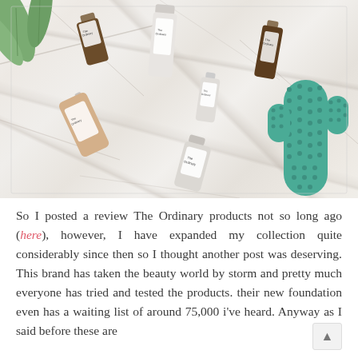[Figure (photo): Flat lay photo of The Ordinary skincare products arranged on a white marble surface: several white tubes, brown glass bottles, and a cream tube with white/minimal labels reading 'The Ordinary'. A teal/green ceramic cactus ornament sits at the right side. Green plant leaves are visible in the top-left corner.]
So I posted a review The Ordinary products not so long ago (here), however, I have expanded my collection quite considerably since then so I thought another post was deserving. This brand has taken the beauty world by storm and pretty much everyone has tried and tested the products. their new foundation even has a waiting list of around 75,000 i've heard. Anyway as I said before these are